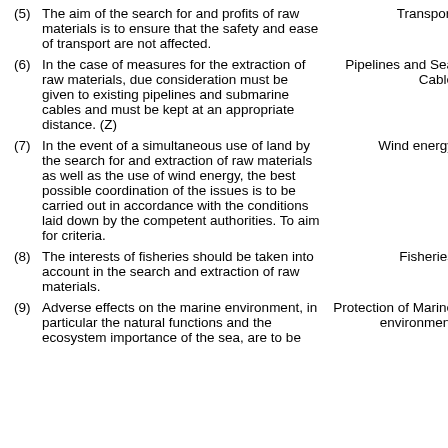(5) The aim of the search for and profits of raw materials is to ensure that the safety and ease of transport are not affected.
Transport
(6) In the case of measures for the extraction of raw materials, due consideration must be given to existing pipelines and submarine cables and must be kept at an appropriate distance. (Z)
Pipelines and Sea Cable
(7) In the event of a simultaneous use of land by the search for and extraction of raw materials as well as the use of wind energy, the best possible coordination of the issues is to be carried out in accordance with the conditions laid down by the competent authorities. To aim for criteria.
Wind energy
(8) The interests of fisheries should be taken into account in the search and extraction of raw materials.
Fisheries
(9) Adverse effects on the marine environment, in particular the natural functions and the ecosystem importance of the sea, are to be
Protection of Marine environment